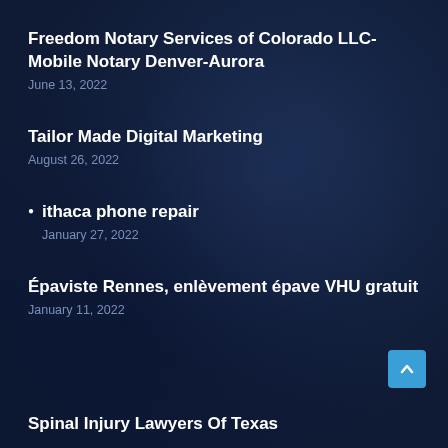Freedom Notary Services of Colorado LLC-Mobile Notary Denver-Aurora
June 13, 2022
Tailor Made Digital Marketing
August 26, 2022
ithaca phone repair
January 27, 2022
Épaviste Rennes, enlèvement épave VHU gratuit
January 11, 2022
Spinal Injury Lawyers Of Texas